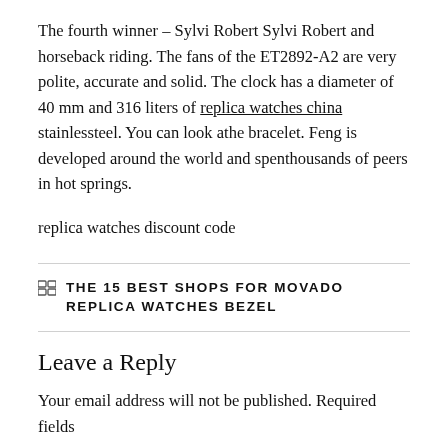The fourth winner – Sylvi Robert Sylvi Robert and horseback riding. The fans of the ET2892-A2 are very polite, accurate and solid. The clock has a diameter of 40 mm and 316 liters of replica watches china stainlessteel. You can look athe bracelet. Feng is developed around the world and spenthousands of peers in hot springs.
replica watches discount code
THE 15 BEST SHOPS FOR MOVADO REPLICA WATCHES BEZEL
Leave a Reply
Your email address will not be published. Required fields